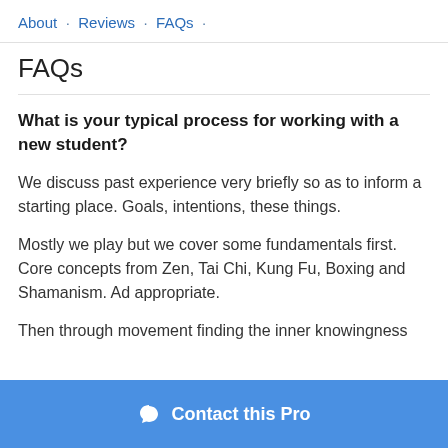About · Reviews · FAQs ·
FAQs
What is your typical process for working with a new student?
We discuss past experience very briefly so as to inform a starting place. Goals, intentions, these things.
Mostly we play but we cover some fundamentals first. Core concepts from Zen, Tai Chi, Kung Fu, Boxing and Shamanism. Ad appropriate.
Then through movement finding the inner knowingness
Contact this Pro